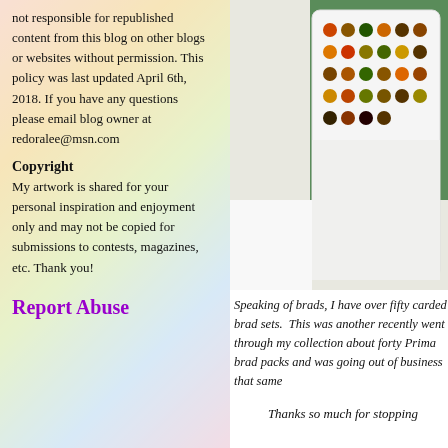not responsible for republished content from this blog on other blogs or websites without permission. This policy was last updated April 6th, 2018. If you have any questions please email blog owner at redoralee@msn.com
Copyright
My artwork is shared for your personal inspiration and enjoyment only and may not be copied for submissions to contests, magazines, etc. Thank you!
Report Abuse
[Figure (photo): Photo of a white brad storage/organizer tray with rows of colorful decorative brads in various colors including orange, green, gold, brown, and black]
Speaking of brads, I have over fifty carded brad sets. This was another recently went through my collection about forty Prima brad packs and was going out of business that same
Thanks so much for stopping